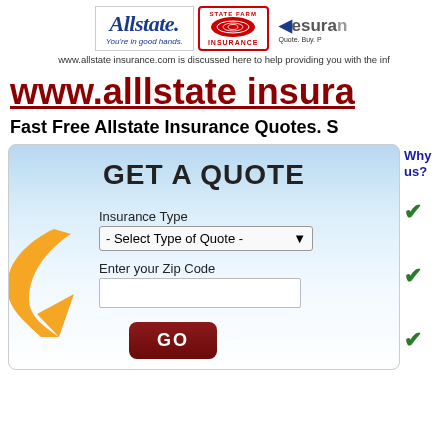[Figure (logo): Allstate, State Farm, and Esurance insurance logos side by side at top of page]
www.allstate insurance.com is discussed here to help providing you with the inf
www.alllstate insura
Fast Free Allstate Insurance Quotes. S
[Figure (screenshot): Get A Quote form with insurance type dropdown (Select Type of Quote), zip code input field, orange arrow graphic, and dark red GO button]
Why us?
[Figure (other): Three green checkmarks in right sidebar]